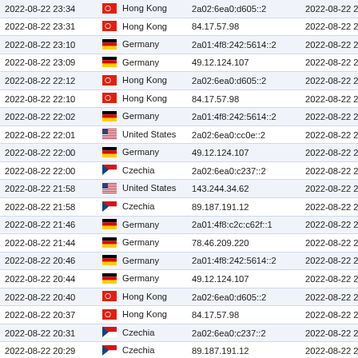| Date | Country | IP | Date2 |
| --- | --- | --- | --- |
| 2022-08-22 23:34 | Hong Kong | 2a02:6ea0:d605::2 | 2022-08-22 23:34 |
| 2022-08-22 23:31 | Hong Kong | 84.17.57.98 | 2022-08-22 23:31 |
| 2022-08-22 23:10 | Germany | 2a01:4f8:242:5614::2 | 2022-08-22 23:10 |
| 2022-08-22 23:09 | Germany | 49.12.124.107 | 2022-08-22 23:08 |
| 2022-08-22 22:12 | Hong Kong | 2a02:6ea0:d605::2 | 2022-08-22 22:12 |
| 2022-08-22 22:10 | Hong Kong | 84.17.57.98 | 2022-08-22 22:10 |
| 2022-08-22 22:02 | Germany | 2a01:4f8:242:5614::2 | 2022-08-22 22:02 |
| 2022-08-22 22:01 | United States | 2a02:6ea0:cc0e::2 | 2022-08-22 22:01 |
| 2022-08-22 22:00 | Germany | 49.12.124.107 | 2022-08-22 22:00 |
| 2022-08-22 22:00 | Czechia | 2a02:6ea0:c237::2 | 2022-08-22 22:00 |
| 2022-08-22 21:58 | United States | 143.244.34.62 | 2022-08-22 21:58 |
| 2022-08-22 21:58 | Czechia | 89.187.191.12 | 2022-08-22 21:58 |
| 2022-08-22 21:46 | Germany | 2a01:4f8:c2c:c62f::1 | 2022-08-22 21:46 |
| 2022-08-22 21:44 | Germany | 78.46.209.220 | 2022-08-22 21:44 |
| 2022-08-22 20:46 | Germany | 2a01:4f8:242:5614::2 | 2022-08-22 20:44 |
| 2022-08-22 20:44 | Germany | 49.12.124.107 | 2022-08-22 20:44 |
| 2022-08-22 20:40 | Hong Kong | 2a02:6ea0:d605::2 | 2022-08-22 20:40 |
| 2022-08-22 20:37 | Hong Kong | 84.17.57.98 | 2022-08-22 20:37 |
| 2022-08-22 20:31 | Czechia | 2a02:6ea0:c237::2 | 2022-08-22 20:31 |
| 2022-08-22 20:29 | Czechia | 89.187.191.12 | 2022-08-22 20:29 |